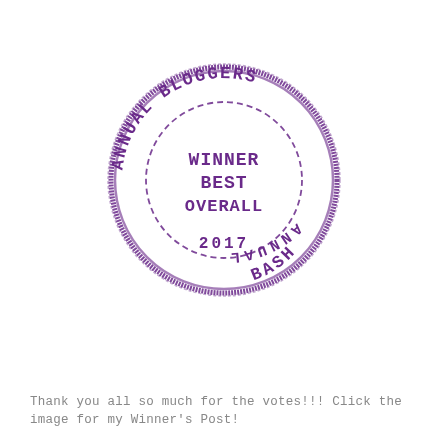[Figure (logo): Circular rubber stamp badge in purple. Outer ring text reads 'ANNUAL BLOGGERS BASH' curved around the outside. Inner dashed circle border. Center text reads 'WINNER BEST OVERALL'. Bottom of stamp shows '2017'. Text along bottom arc reads 'ANNUAL BASH' mirrored/upside-down style.]
Thank you all so much for the votes!!! Click the image for my Winner's Post!